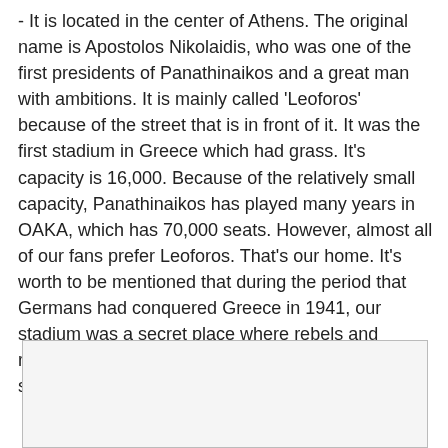- It is located in the center of Athens. The original name is Apostolos Nikolaidis, who was one of the first presidents of Panathinaikos and a great man with ambitions. It is mainly called 'Leoforos' because of the street that is in front of it. It was the first stadium in Greece which had grass. It's capacity is 16,000. Because of the relatively small capacity, Panathinaikos has played many years in OAKA, which has 70,000 seats. However, almost all of our fans prefer Leoforos. That's our home. It's worth to be mentioned that during the period that Germans had conquered Greece in 1941, our stadium was a secret place where rebels and resistants were gathering. There was also a secret school
[Figure (other): Partially visible image placeholder with a scroll-to-top button (upward arrow icon) in the bottom-left area of the page.]